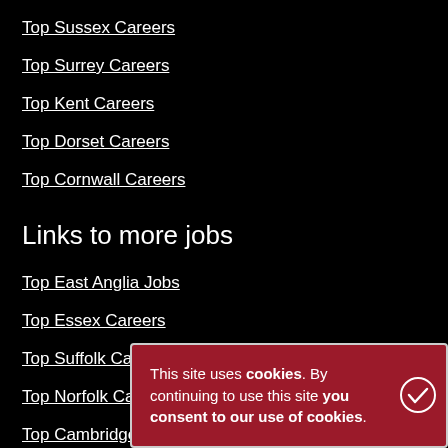Top Sussex Careers
Top Surrey Careers
Top Kent Careers
Top Dorset Careers
Top Cornwall Careers
Links to more jobs
Top East Anglia Jobs
Top Essex Careers
Top Suffolk Careers
Top Norfolk Careers
Top Cambridge Careers
This site uses cookies. By continuing to use this site you consent to our use of cookies.